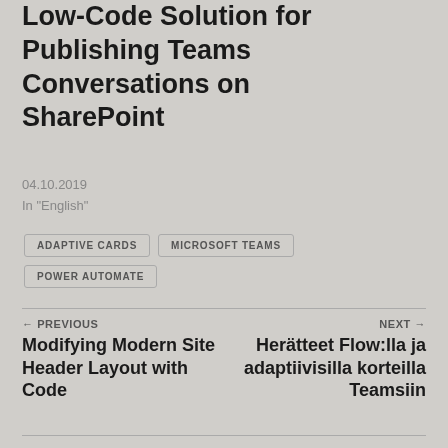Low-Code Solution for Publishing Teams Conversations on SharePoint
04.10.2019
In "English"
ADAPTIVE CARDS
MICROSOFT TEAMS
POWER AUTOMATE
← PREVIOUS
Modifying Modern Site Header Layout with Code
NEXT →
Herätteet Flow:lla ja adaptiivisilla korteilla Teamsiin